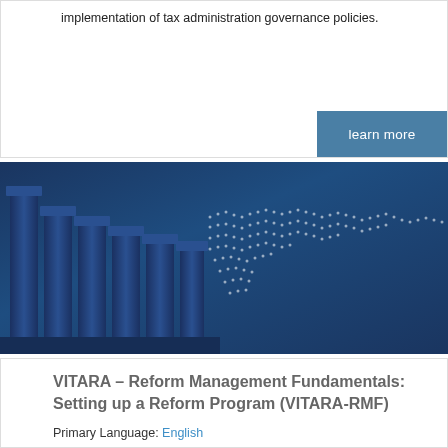implementation of tax administration governance policies.
learn more
[Figure (photo): Dark blue banner image showing classical stone pillars/columns on the left with a dotted white world map overlay on a deep blue background, representing global governance.]
VITARA – Reform Management Fundamentals: Setting up a Reform Program (VITARA-RMF)
Primary Language: English
May 1, 2022 – August 31, 2022